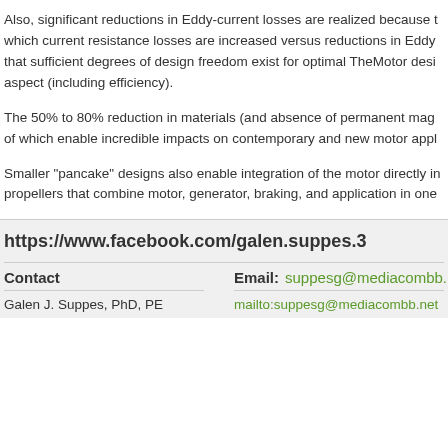Also, significant reductions in Eddy-current losses are realized because of which current resistance losses are increased versus reductions in Eddy that sufficient degrees of design freedom exist for optimal TheMotor desi aspect (including efficiency).
The 50% to 80% reduction in materials (and absence of permanent mag of which enable incredible impacts on contemporary and new motor appl
Smaller "pancake" designs also enable integration of the motor directly in propellers that combine motor, generator, braking, and application in one
https://www.facebook.com/galen.suppes.3
Contact
Galen J. Suppes, PhD, PE
Email: suppesg@mediacombb.net
mailto:suppesg@mediacombb.net